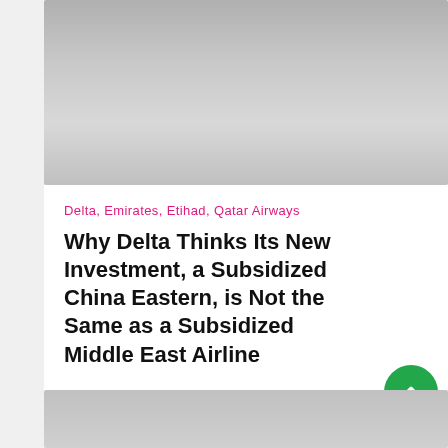[Figure (photo): Gray gradient image placeholder at the top of an article card, representing a cropped photograph]
Delta, Emirates, Etihad, Qatar Airways
Why Delta Thinks Its New Investment, a Subsidized China Eastern, is Not the Same as a Subsidized Middle East Airline
[Figure (photo): Gray gradient image placeholder at the bottom, partial view of another article card]